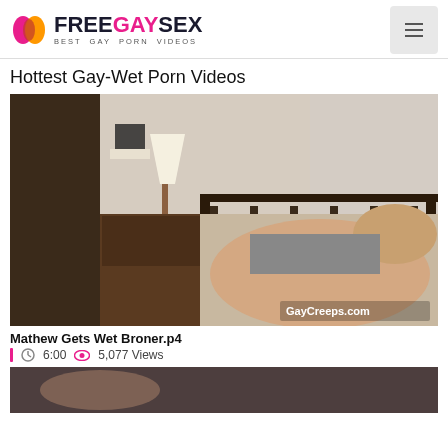FREEGAYSEX BEST GAY PORN VIDEOS
Hottest Gay-Wet Porn Videos
[Figure (photo): Video thumbnail showing bedroom scene with watermark GayCreeps.com]
Mathew Gets Wet Broner.p4
6:00  5,077 Views
[Figure (photo): Partial video thumbnail at bottom of page]